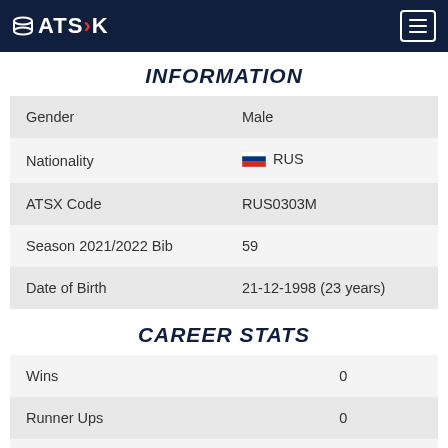ATSX
INFORMATION
| Field | Value |
| --- | --- |
| Gender | Male |
| Nationality | RUS |
| ATSX Code | RUS0303M |
| Season 2021/2022 Bib | 59 |
| Date of Birth | 21-12-1998 (23 years) |
CAREER STATS
| Stat | Value |
| --- | --- |
| Wins | 0 |
| Runner Ups | 0 |
| 3rd Places | 0 |